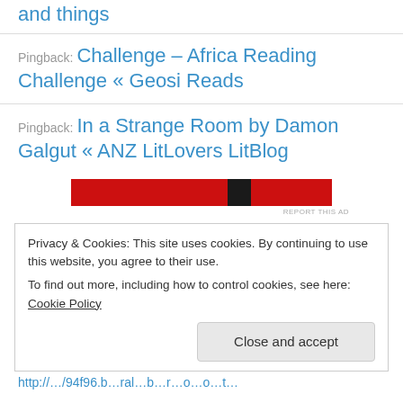and things
Pingback: Challenge – Africa Reading Challenge « Geosi Reads
Pingback: In a Strange Room by Damon Galgut « ANZ LitLovers LitBlog
[Figure (other): Red and black advertisement banner image]
REPORT THIS AD
Privacy & Cookies: This site uses cookies. By continuing to use this website, you agree to their use.
To find out more, including how to control cookies, see here: Cookie Policy
Close and accept
http://... (truncated URL)